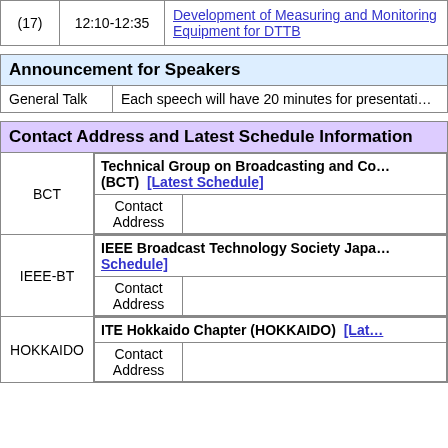| # | Time | Title |
| --- | --- | --- |
| (17) | 12:10-12:35 | Development of Measuring and Monitoring Equipment for DTTB |
| Announcement for Speakers |
| --- |
| General Talk | Each speech will have 20 minutes for presentation |
| Contact Address and Latest Schedule Information |
| --- |
| BCT | Technical Group on Broadcasting and Communications (BCT) [Latest Schedule] | Contact Address |  |
| IEEE-BT | IEEE Broadcast Technology Society Japan [Latest Schedule] | Contact Address |  |
| HOKKAIDO | ITE Hokkaido Chapter (HOKKAIDO) [Latest Schedule] | Contact Address |  |